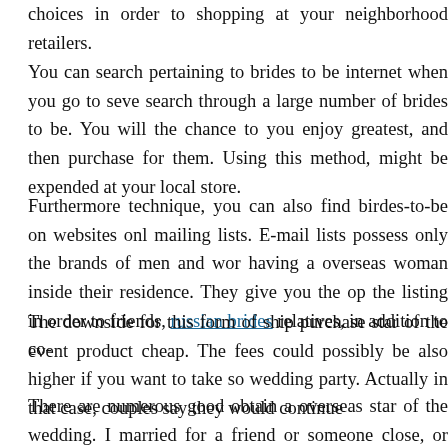choices in order to shopping at your neighborhood retailers.
You can search pertaining to brides to be internet when you go to seve search through a large number of brides to be. You will the chance to you enjoy greatest, and then purchase for them. Using this method, might be expended at your local store.
Furthermore technique, you can also find birdes-to-be on websites onl mailing lists. E-mail lists possess only the brands of men and wor having a overseas woman inside their residence. They give you the op the listing in order to friends, russian brides relatives, in addition to co-
The downside for this form of ship purchase star of the event product cheap. The fees could possibly be also higher if you want to take so wedding party. Actually in that case, couples say they would continue
There are numerous good obtain a overseas star of the wedding. I married for a friend or someone close, or even many people for just a